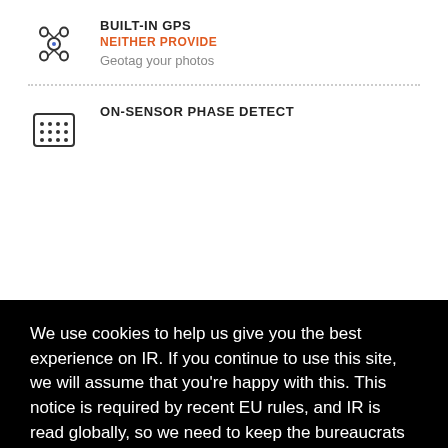[Figure (illustration): GPS/drone icon (crossed circular arrows with dot)]
BUILT-IN GPS
NEITHER PROVIDE
Geotag your photos
[Figure (illustration): Grid/sensor icon in a rounded rectangle]
ON-SENSOR PHASE DETECT
We use cookies to help us give you the best experience on IR. If you continue to use this site, we will assume that you're happy with this. This notice is required by recent EU rules, and IR is read globally, so we need to keep the bureaucrats off our case!
Learn more
Got it!
HEADPHONE JACK